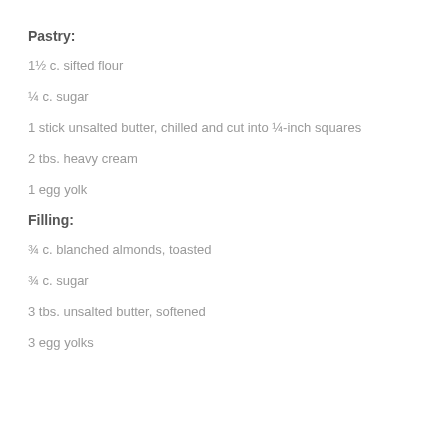Pastry:
1½ c. sifted flour
¼ c. sugar
1 stick unsalted butter, chilled and cut into ¼-inch squares
2 tbs. heavy cream
1 egg yolk
Filling:
¾ c. blanched almonds, toasted
¾ c. sugar
3 tbs. unsalted butter, softened
3 egg yolks